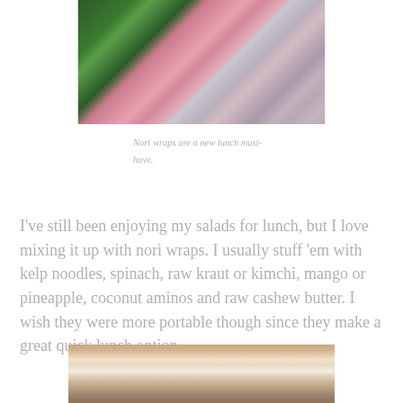[Figure (photo): Close-up photo of nori wraps on a pink plate with dark square pattern tiled background. Green leafy vegetables visible inside the wrap.]
Nori wraps are a new lunch must-have.
I've still been enjoying my salads for lunch, but I love mixing it up with nori wraps. I usually stuff 'em with kelp noodles, spinach, raw kraut or kimchi, mango or pineapple, coconut aminos and raw cashew butter. I wish they were more portable though since they make a great quick lunch option.
[Figure (photo): Photo of white food pieces (possibly cashew butter or coconut) on a wooden board, partially visible at the bottom of the page.]